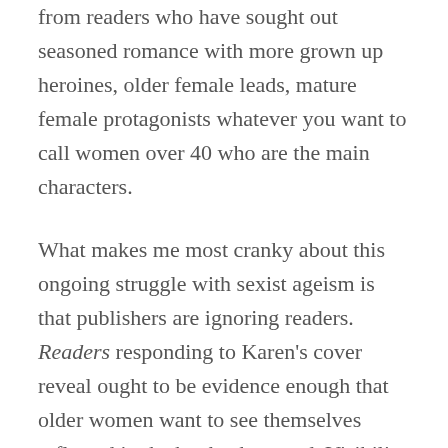from readers who have sought out seasoned romance with more grown up heroines, older female leads, mature female protagonists whatever you want to call women over 40 who are the main characters.
What makes me most cranky about this ongoing struggle with sexist ageism is that publishers are ignoring readers. Readers responding to Karen's cover reveal ought to be evidence enough that older women want to see themselves reflected in the books they read. Visibility and invisibility. There are two things at stake here: the inclusion and representation of women of all ages on book covers and between the pages, whatever colour their hair might be, and instead of publishers telling authors that books with grey-haired women on the cover